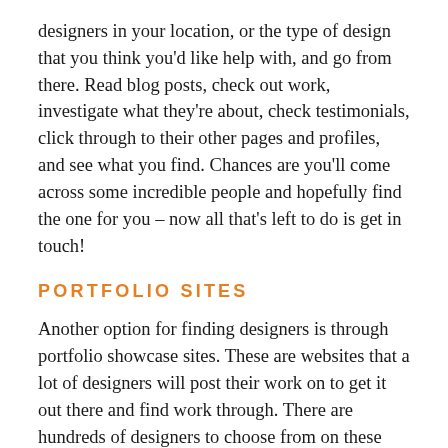designers in your location, or the type of design that you think you'd like help with, and go from there. Read blog posts, check out work, investigate what they're about, check testimonials, click through to their other pages and profiles, and see what you find. Chances are you'll come across some incredible people and hopefully find the one for you – now all that's left to do is get in touch!
PORTFOLIO SITES
Another option for finding designers is through portfolio showcase sites. These are websites that a lot of designers will post their work on to get it out there and find work through. There are hundreds of designers to choose from on these sites, but with the ability to sort, categorise and search, you'll be able to narrow things down and find people who fit the bill for you. Keep in mind that you might not find all that you need to know about a designer from these sites, so there can be some deep-diving involved to click through to their website or social media profiles in order to get the full picture. If